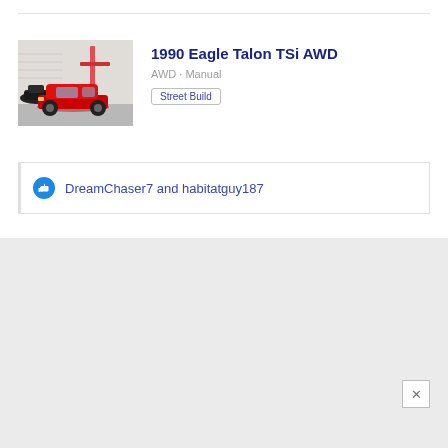[Figure (photo): Photo of a red Eagle Talon in a garage with a car lift]
1990 Eagle Talon TSi AWD
AWD · Manual
Street Build
DreamChaser7 and habitatguy187